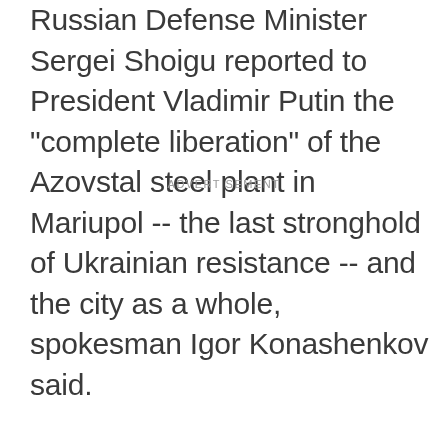Russian Defense Minister Sergei Shoigu reported to President Vladimir Putin the "complete liberation" of the Azovstal steel plant in Mariupol -- the last stronghold of Ukrainian resistance -- and the city as a whole, spokesman Igor Konashenkov said.
ADVERTISEMENT